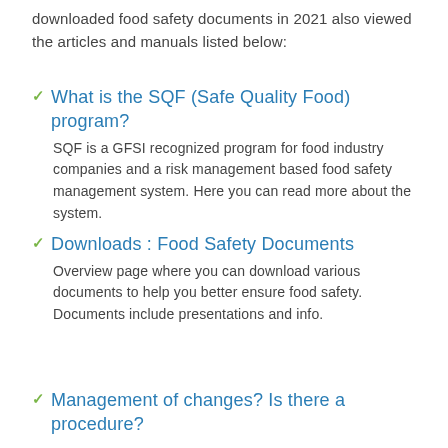downloaded food safety documents in 2021 also viewed the articles and manuals listed below:
What is the SQF (Safe Quality Food) program?
SQF is a GFSI recognized program for food industry companies and a risk management based food safety management system. Here you can read more about the system.
Downloads : Food Safety Documents
Overview page where you can download various documents to help you better ensure food safety. Documents include presentations and info.
Management of changes? Is there a procedure?